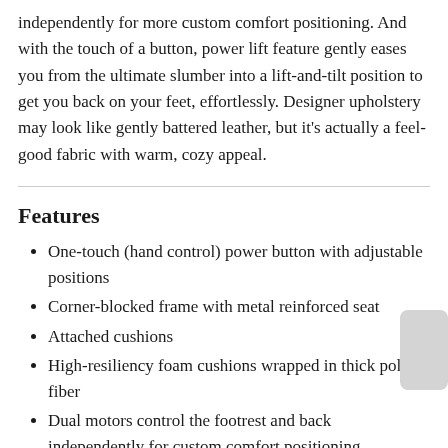independently for more custom comfort positioning. And with the touch of a button, power lift feature gently eases you from the ultimate slumber into a lift-and-tilt position to get you back on your feet, effortlessly. Designer upholstery may look like gently battered leather, but it's actually a feel-good fabric with warm, cozy appeal.
Features
One-touch (hand control) power button with adjustable positions
Corner-blocked frame with metal reinforced seat
Attached cushions
High-resiliency foam cushions wrapped in thick poly fiber
Dual motors control the footrest and back independently for custom comfort positioning
Emergency battery backup runs on two 9-volt batteries (not included), in case of power outage